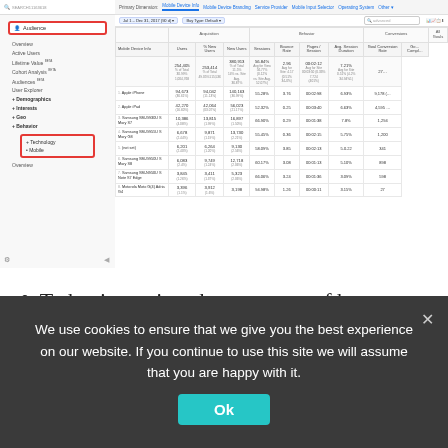[Figure (screenshot): Google Analytics screenshot showing the Audience > Technology > Mobile section with a data table listing mobile device info including Apple iPhone, Apple iPad, Samsung SM-G930U, Samsung SM-G955U, (not set), Samsung SM-G950U, Samsung SM-N950U Edge, Motorola Moto G(4). Navigation panel visible on left with Audience expanded.]
To begin, review the summary of how your site performs on mobile, tablet, and desktop, as well as the percentage of visitors that use each. Whether you see that mobile gets a lot
We use cookies to ensure that we give you the best experience on our website. If you continue to use this site we will assume that you are happy with it.